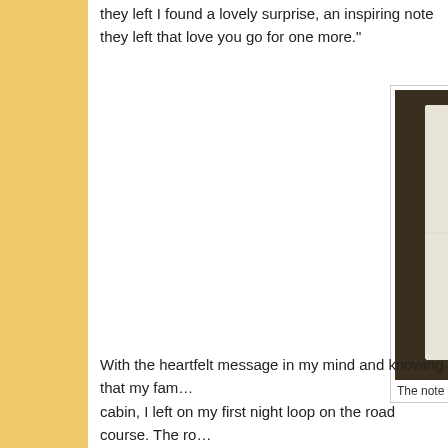they left I found a lovely surprise, an inspiring note they left that love you go for one more."
[Figure (photo): A handwritten note on white paper reading 'Dear Dad, You got this! We love you go for more. Love, Steven Mom C[?] Jacob']
The note left from my family going into the fi...
With the heartfelt message in my mind and knowing that my fa... cabin, I left on my first night loop on the road course. The ro...